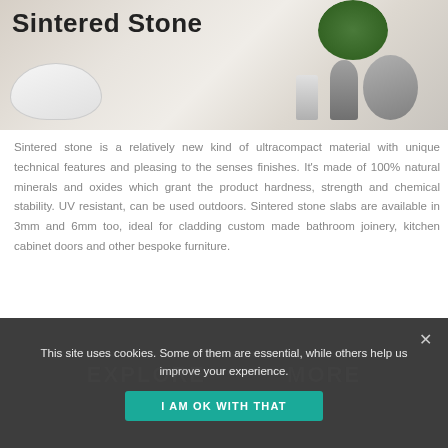[Figure (photo): Sintered Stone product photo showing a bathroom scene with a white sink bowl, soap dispenser, cylindrical vase/container, round mirror, and green plant against a marble-effect white background. Title 'Sintered Stone' overlaid on upper left.]
Sintered stone is a relatively new kind of ultracompact material with unique technical features and pleasing to the senses finishes. It’s made of 100% natural minerals and oxides which grant the product hardness, strength and chemical stability. UV resistant, can be used outdoors. Sintered stone slabs are available in 3mm and 6mm too, ideal for cladding custom made bathroom joinery, kitchen cabinet doors and other bespoke furniture.
This site uses cookies. Some of them are essential, while others help us improve your experience.
I AM OK WITH THAT